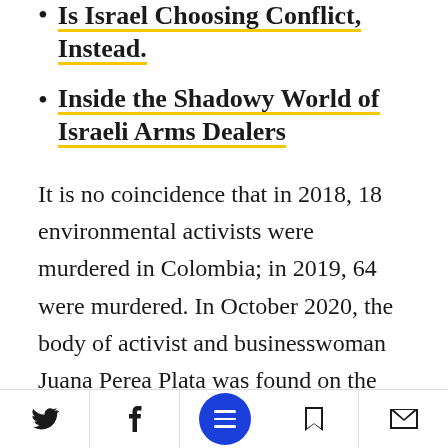Is Israel Choosing Conflict, Instead. (partial, top of page)
Inside the Shadowy World of Israeli Arms Dealers
It is no coincidence that in 2018, 18 environmental activists were murdered in Colombia; in 2019, 64 were murdered. In October 2020, the body of activist and businesswoman Juana Perea Plata was found on the beach in Nuquí, in western Colombia, after being abducted from her home and shot in the head by a right-wing militia. She had organized a campaign against the establishment of a commercial port in the
Twitter | Facebook | Menu | Bookmark | Email